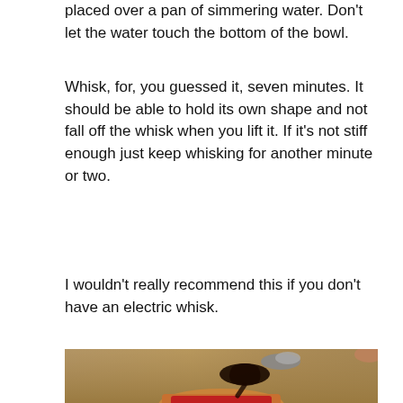placed over a pan of simmering water. Don't let the water touch the bottom of the bowl.
Whisk, for, you guessed it, seven minutes. It should be able to hold its own shape and not fall off the whisk when you lift it. If it's not stiff enough just keep whisking for another minute or two.
I wouldn't really recommend this if you don't have an electric whisk.
[Figure (photo): Close-up photo of dark chocolate jam/sauce being spooned onto a cupcake in a red paper liner, against a blurred warm brown background.]